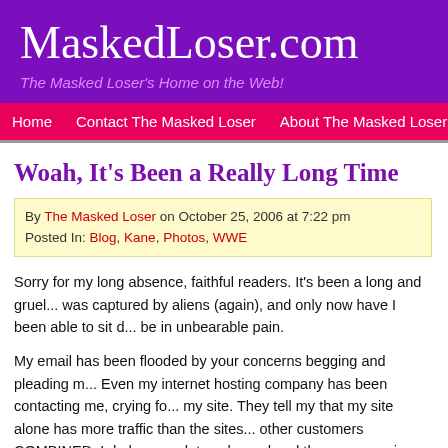MaskedLoser.com — The Masked Loser's Home on the Web!
Home | Contact The Masked Loser | About The Masked Loser | The Comi...
Woah, It's Been a Really Long Time
By The Masked Loser on October 25, 2006 at 7:22 pm
Posted In: Blog, Kane, Photos, WWE
Sorry for my long absence, faithful readers. It's been a long and gruel... was captured by aliens (again), and only now have I been able to sit d... be in unbearable pain.
My email has been flooded by your concerns begging and pleading m... Even my internet hosting company has been contacting me, crying fo... my site. They tell my that my site alone has more traffic than the sites... other customers COMBINED. I do have updates planned and there w... comics soon. They've been scripted, I just need to draw them and col... stuff.
To tide you over, I will leave you with a picture of me with a certain WW...